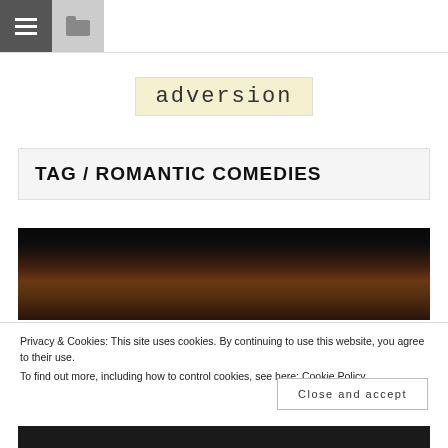Navigation bar with hamburger menu and folder icons
adversion
TAG / ROMANTIC COMEDIES
[Figure (photo): Dark night scene with warm brownish tones, appears to be an outdoor setting]
Privacy & Cookies: This site uses cookies. By continuing to use this website, you agree to their use.
To find out more, including how to control cookies, see here: Cookie Policy
Close and accept
[Figure (photo): Dark image strip at the bottom of the page]